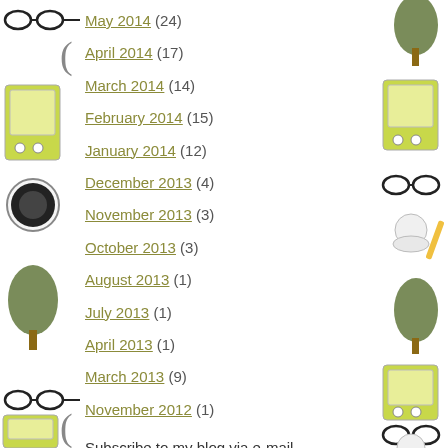May 2014 (24)
April 2014 (17)
March 2014 (14)
February 2014 (15)
January 2014 (12)
December 2013 (4)
November 2013 (3)
October 2013 (3)
August 2013 (1)
July 2013 (1)
April 2013 (1)
March 2013 (9)
November 2012 (1)
Subscribe to my blog via e-mail